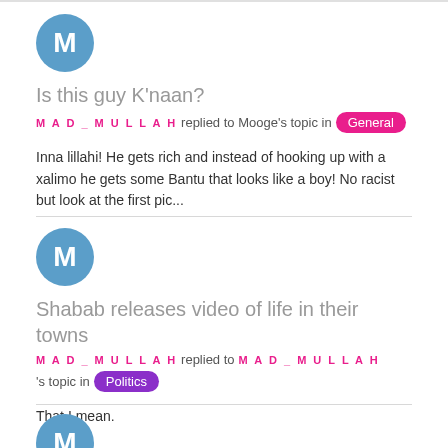[Figure (other): User avatar circle with letter M, steel blue color]
Is this guy K'naan?
MAD_MULLAH replied to Mooge's topic in General
Inna lillahi! He gets rich and instead of hooking up with a xalimo he gets some Bantu that looks like a boy! No racist but look at the first pic...
[Figure (other): User avatar circle with letter M, steel blue color]
Shabab releases video of life in their towns
MAD_MULLAH replied to MAD_MULLAH's topic in Politics
That I mean.
[Figure (other): User avatar circle with letter M, steel blue color, partially visible at bottom]